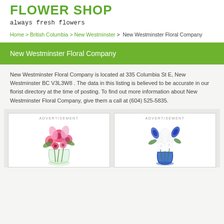FLOWER SHOP
always fresh flowers
Home > British Columbia > New Westminster > New Westminster Floral Company
New Westminster Floral Company
New Westminster Floral Company is located at 335 Columbia St E, New Westminster BC V3L3W8 . The data in this listing is believed to be accurate in our florist directory at the time of posting. To find out more information about New Westminster Floral Company, give them a call at (604) 525-5835.
[Figure (photo): Advertisement showing pink flower bouquet in glass vase]
[Figure (photo): Advertisement showing blue and white flower bouquet in blue vase]